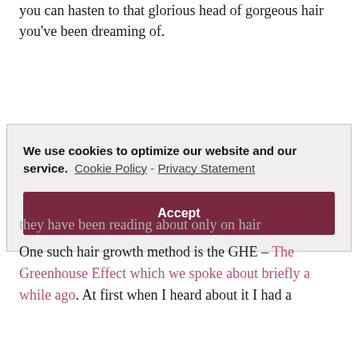you can hasten to that glorious head of gorgeous hair you've been dreaming of.
It would also mean that in your searches you may
they have been reading about only on hair
We use cookies to optimize our website and our service.  Cookie Policy - Privacy Statement
Accept
One such hair growth method is the GHE – The Greenhouse Effect which we spoke about briefly a while ago. At first when I heard about it I had a